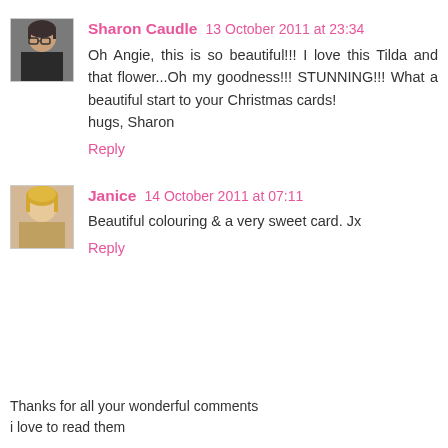[Figure (photo): Avatar photo of Sharon Caudle - small portrait of a woman with glasses]
Sharon Caudle 13 October 2011 at 23:34
Oh Angie, this is so beautiful!!! I love this Tilda and that flower...Oh my goodness!!! STUNNING!!! What a beautiful start to your Christmas cards!
hugs, Sharon
Reply
[Figure (photo): Avatar photo of Janice - small portrait of a blonde woman]
Janice 14 October 2011 at 07:11
Beautiful colouring & a very sweet card. Jx
Reply
Thanks for all your wonderful comments
i love to read them